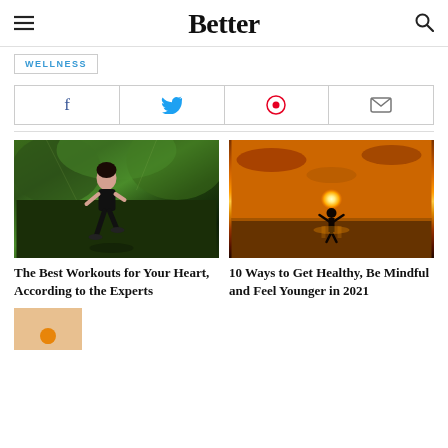Better
WELLNESS
[Figure (infographic): Social sharing buttons row: Facebook, Twitter, Pinterest, Email]
[Figure (photo): Woman in black athletic wear running outdoors among green tropical trees]
The Best Workouts for Your Heart, According to the Experts
[Figure (photo): Silhouette of a person with arms raised on a beach at sunset with golden orange sky]
10 Ways to Get Healthy, Be Mindful and Feel Younger in 2021